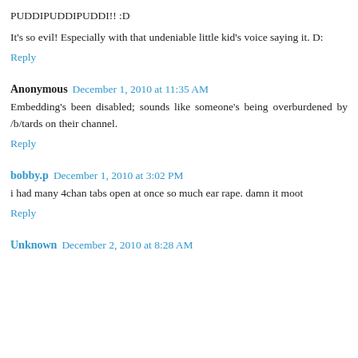PUDDIPUDDIPUDDI!! :D
It's so evil! Especially with that undeniable little kid's voice saying it. D:
Reply
Anonymous  December 1, 2010 at 11:35 AM
Embedding's been disabled; sounds like someone's being overburdened by /b/tards on their channel.
Reply
bobby.p  December 1, 2010 at 3:02 PM
i had many 4chan tabs open at once so much ear rape. damn it moot
Reply
Unknown  December 2, 2010 at 8:28 AM